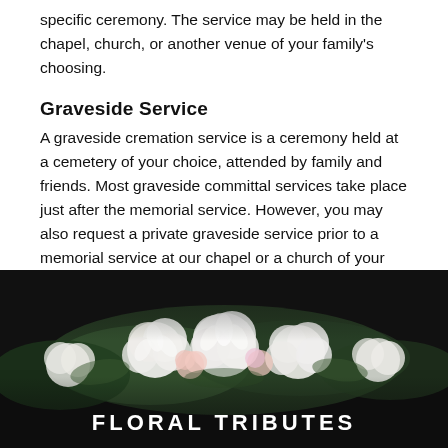specific ceremony. The service may be held in the chapel, church, or another venue of your family's choosing.
Graveside Service
A graveside cremation service is a ceremony held at a cemetery of your choice, attended by family and friends. Most graveside committal services take place just after the memorial service. However, you may also request a private graveside service prior to a memorial service at our chapel or a church of your choice.
[Figure (photo): A large arrangement of white and pink flowers (chrysanthemums, carnations, roses) on a dark background with overlaid text 'FLORAL TRIBUTES']
FLORAL TRIBUTES